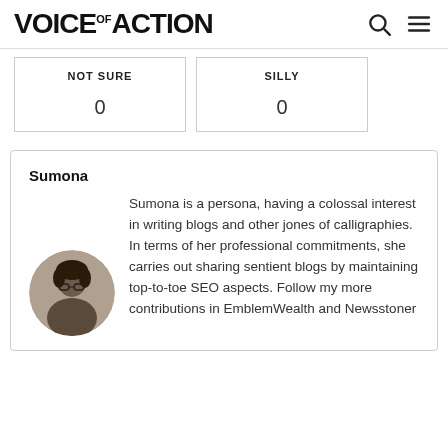VOICE OF ACTION
| NOT SURE | SILLY |
| --- | --- |
| 0 | 0 |
Sumona
Sumona is a persona, having a colossal interest in writing blogs and other jones of calligraphies. In terms of her professional commitments, she carries out sharing sentient blogs by maintaining top-to-toe SEO aspects. Follow my more contributions in EmblemWealth and Newsstoner